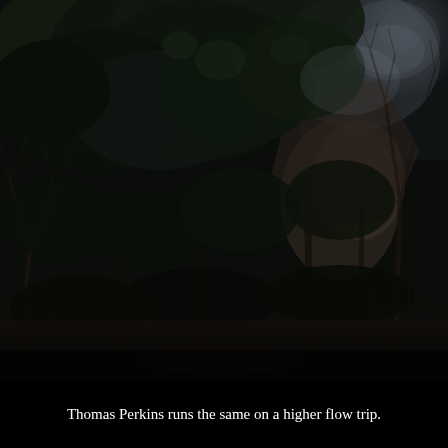[Figure (photo): A dark, moody photograph of a dense forest scene with dark green foliage, bare branches, rocky terrain in the background, and very low lighting creating a shadowy, atmospheric wilderness scene.]
Thomas Perkins runs the same on a higher flow trip.